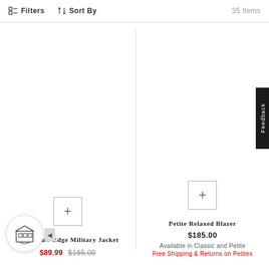Filters  Sort By  35 Items
[Figure (screenshot): Product listing page showing two petite jackets with quick-add buttons]
Petite Raw Edge Military Jacket
$89.99  $165.00
Petite Relaxed Blazer
$185.00
Available in Classic and Petite
Free Shipping & Returns on Petites